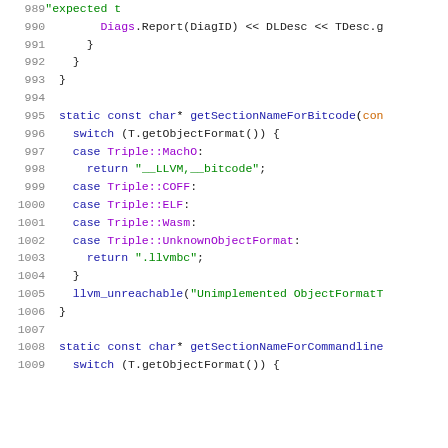[Figure (screenshot): Source code viewer showing C++ code lines 989–1009 with syntax highlighting. Line numbers in gray on the left, keywords in blue, string literals in green, type names in purple.]